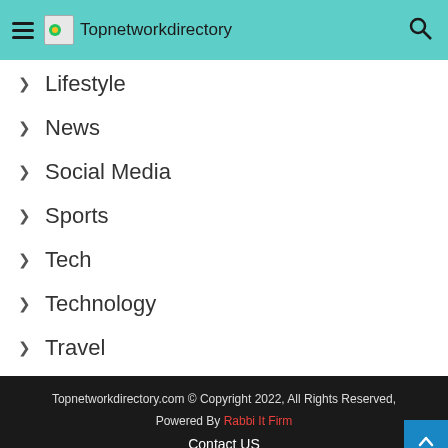Topnetworkdirectory
Lifestyle
News
Social Media
Sports
Tech
Technology
Travel
Topnetworkdirectory.com © Copyright 2022, All Rights Reserved, Powered By Rabbi It Firm Contact US